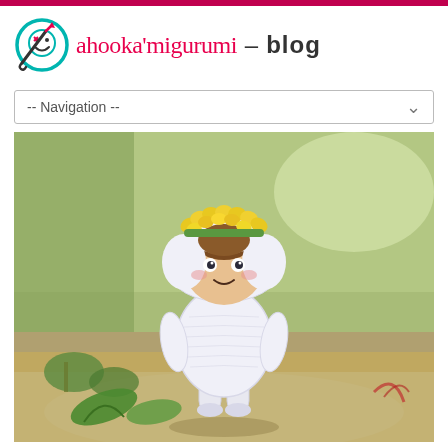ahooka'migurumi – blog
-- Navigation --
[Figure (photo): Photograph of a crocheted amigurumi doll wearing a white outfit with a yellow flower crown on its head, standing on sandy ground with green plants in the background. The doll has a face with small eyes and a smile.]